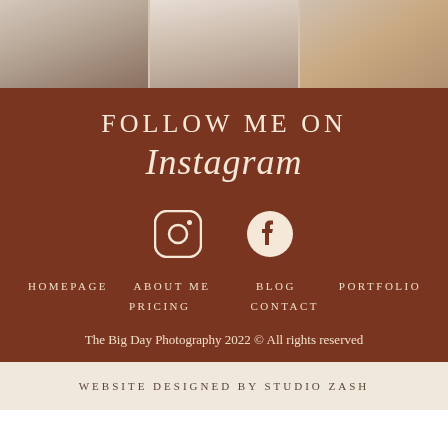[Figure (photo): Three portrait photos side by side in a horizontal strip — person in dark pants at beach, pregnant woman in white top, couple in warm tones outdoors]
FOLLOW ME ON
Instagram
[Figure (infographic): Instagram icon and Facebook icon centered horizontally on dark brown background]
HOMEPAGE
ABOUT ME
BLOG
PORTFOLIO
PRICING
CONTACT
The Big Day Photography 2022 © All rights reserved
WEBSITE DESIGNED BY STUDIO ZASH